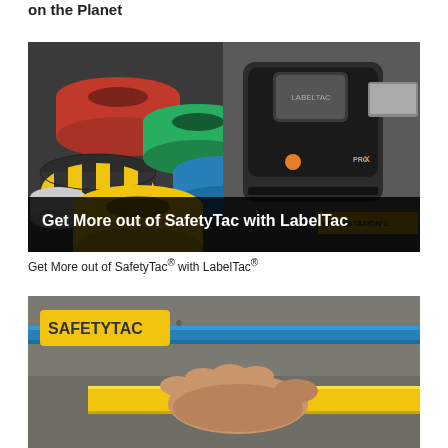on the Planet
[Figure (photo): Photo of colorful floor marking tape rolls (red, yellow/black striped, white, green, blue) on the left side, and a LabelTac PRO X label printer on the right side, with a dark overlay banner reading 'Get More out of SafetyTac with LabelTac']
Get More out of SafetyTac® with LabelTac®
[Figure (photo): Photo of hands pressing yellow SafetyTac floor marking tape onto a concrete floor, with a blue pipe in the background and a yellow SafetyTac logo badge in the upper left corner]